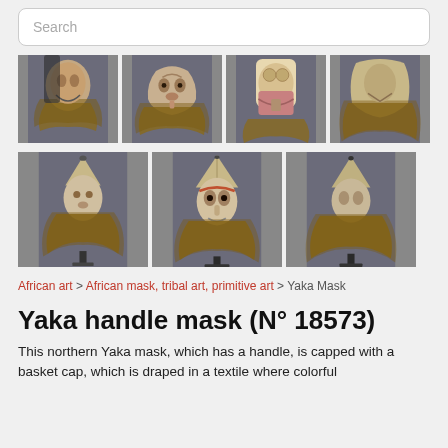Search
[Figure (photo): Four close-up photographs of African Yaka masks with raffia fiber fringe, shown against gray backgrounds — top row of four images]
[Figure (photo): Three photographs of African Yaka handle masks on stands with raffia fiber skirts, shown against gray backgrounds — bottom row of three images]
African art > African mask, tribal art, primitive art > Yaka Mask
Yaka handle mask (N° 18573)
This northern Yaka mask, which has a handle, is capped with a basket cap, which is draped in a textile where colorful